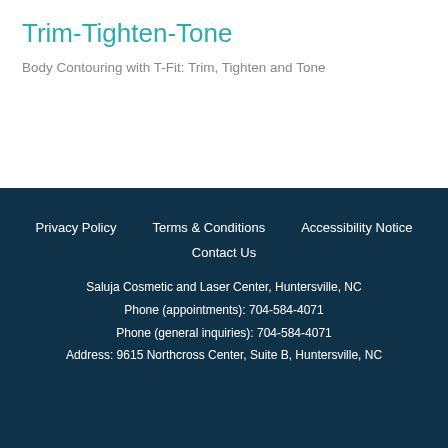Trim-Tighten-Tone
Body Contouring with T-Fit: Trim, Tighten and Tone
Privacy Policy   Terms & Conditions   Accessibility Notice   Contact Us   Saluja Cosmetic and Laser Center, Huntersville, NC   Phone (appointments): 704-584-4071   Phone (general inquiries): 704-584-4071   Address: 9615 Northcross Center, Suite B, Huntersville, NC